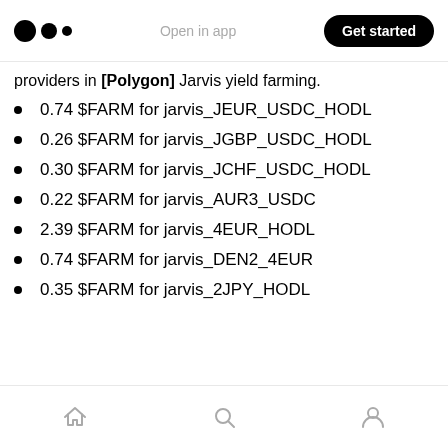Open in app | Get started
providers in [Polygon] Jarvis yield farming.
0.74 $FARM for jarvis_JEUR_USDC_HODL
0.26 $FARM for jarvis_JGBP_USDC_HODL
0.30 $FARM for jarvis_JCHF_USDC_HODL
0.22 $FARM for jarvis_AUR3_USDC
2.39 $FARM for jarvis_4EUR_HODL
0.74 $FARM for jarvis_DEN2_4EUR
0.35 $FARM for jarvis_2JPY_HODL
Home | Search | Profile